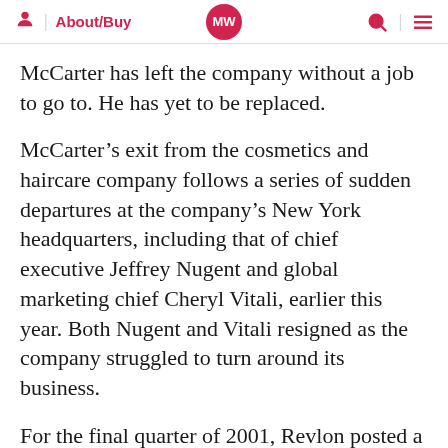MW | About/Buy
McCarter has left the company without a job to go to. He has yet to be replaced.
McCarter’s exit from the cosmetics and haircare company follows a series of sudden departures at the company’s New York headquarters, including that of chief executive Jeffrey Nugent and global marketing chief Cheryl Vitali, earlier this year. Both Nugent and Vitali resigned as the company struggled to turn around its business.
For the final quarter of 2001, Revlon posted a net loss of $28.3m (&£19.4m), compared with a net loss of $...